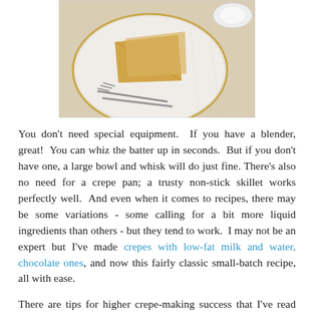[Figure (photo): Photo of two folded crepes on a white plate with gold rim, with a fork and knife, on a marble surface.]
You don't need special equipment. If you have a blender, great! You can whiz the batter up in seconds. But if you don't have one, a large bowl and whisk will do just fine. There's also no need for a crepe pan; a trusty non-stick skillet works perfectly well. And even when it comes to recipes, there may be some variations - some calling for a bit more liquid ingredients than others - but they tend to work. I may not be an expert but I've made crepes with low-fat milk and water, chocolate ones, and now this fairly classic small-batch recipe, all with ease.
There are tips for higher crepe-making success that I've read and followed, including...
Straining the batter through a fine mesh sieve
Letting the batter rest overnight (or at least a few